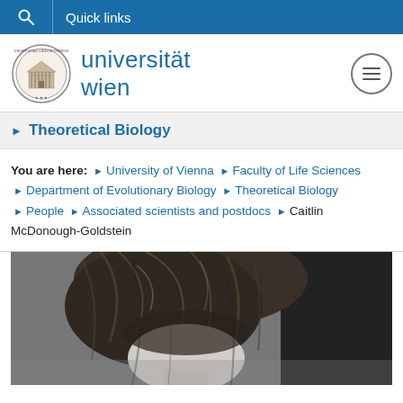Quick links
[Figure (logo): Universität Wien logo with university seal and text]
Theoretical Biology
You are here: University of Vienna › Faculty of Life Sciences › Department of Evolutionary Biology › Theoretical Biology › People › Associated scientists and postdocs › Caitlin McDonough-Goldstein
[Figure (photo): Black and white photo of Caitlin McDonough-Goldstein, showing her face and dark hair]